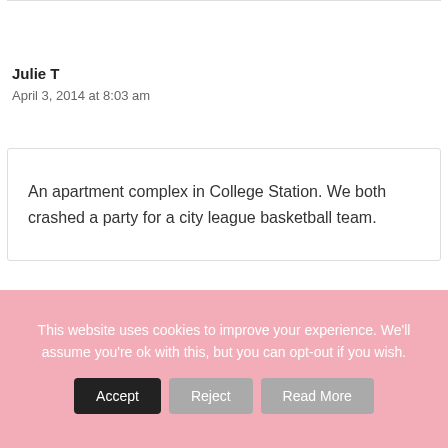Julie T
April 3, 2014 at 8:03 am
An apartment complex in College Station. We both crashed a party for a city league basketball team.
This website uses cookies to improve your experience. We'll assume you're ok with this, but you can opt-out if you wish.  Accept  Reject  Read More